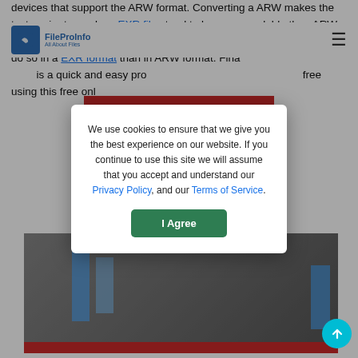FileProInfo | All About Files — SEO Guide | Tech News
devices that support the ARW format. Converting a ARW makes the text easier to read, as EXR files tend to be more readable than ARW files. Additionally, if you want to edit the text, it can be much easier to do so in a EXR format than in ARW format. Finally, converting ARW to EXR is a quick and easy process that can be done online for free using this free online tool.
[Figure (screenshot): Screenshot area showing a dark background with blue bars and red bottom bar, partially obscured by modal overlays]
We use cookies to ensure that we give you the best experience on our website. If you continue to use this site we will assume that you accept and understand our Privacy Policy, and our Terms of Service.
I Agree